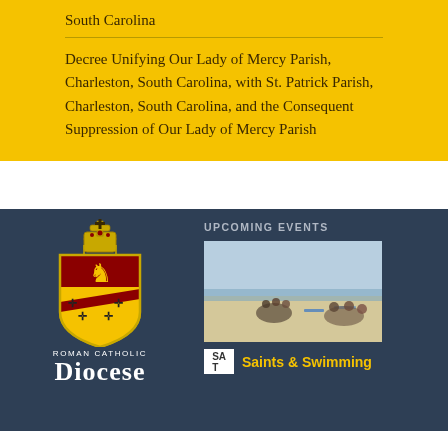South Carolina
Decree Unifying Our Lady of Mercy Parish, Charleston, South Carolina, with St. Patrick Parish, Charleston, South Carolina, and the Consequent Suppression of Our Lady of Mercy Parish
UPCOMING EVENTS
[Figure (photo): Group of people sitting on a beach]
[Figure (logo): Roman Catholic Diocese of Charleston shield/crest logo with bishop's mitre, featuring red and gold heraldic design]
ROMAN CATHOLIC
Diocese
Saints & Swimming